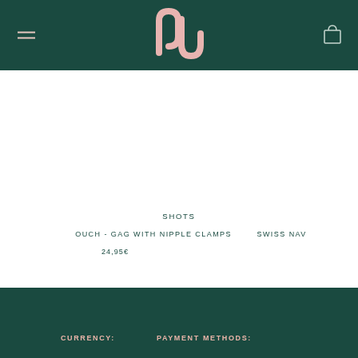NJ logo, hamburger menu, cart icon
SHOTS
OUCH - GAG WITH NIPPLE CLAMPS
24,95€
SWISS NAV
CURRENCY:    PAYMENT METHODS: